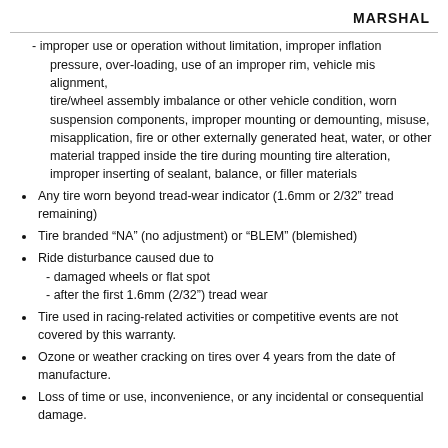MARSHAL
- improper use or operation without limitation, improper inflation pressure, over-loading, use of an improper rim, vehicle mis alignment, tire/wheel assembly imbalance or other vehicle condition, worn suspension components, improper mounting or demounting, misuse, misapplication, fire or other externally generated heat, water, or other material trapped inside the tire during mounting tire alteration, improper inserting of sealant, balance, or filler materials
Any tire worn beyond tread-wear indicator (1.6mm or 2/32" tread remaining)
Tire branded “NA” (no adjustment) or “BLEM” (blemished)
Ride disturbance caused due to
- damaged wheels or flat spot
- after the first 1.6mm (2/32”) tread wear
Tire used in racing-related activities or competitive events are not covered by this warranty.
Ozone or weather cracking on tires over 4 years from the date of manufacture.
Loss of time or use, inconvenience, or any incidental or consequential damage.